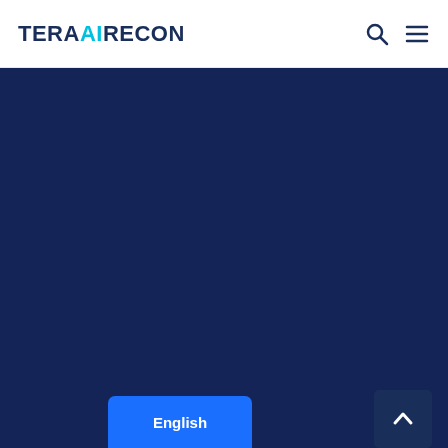TERARECON
[Figure (screenshot): Dark navy blue background area filling the main content region of the TeraRecon website]
English
[Figure (other): Scroll to top arrow button in dark navy]